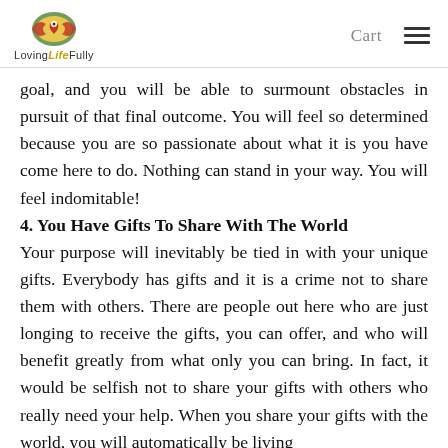LovingLifeFully | Cart
goal, and you will be able to surmount obstacles in pursuit of that final outcome. You will feel so determined because you are so passionate about what it is you have come here to do. Nothing can stand in your way. You will feel indomitable!
4. You Have Gifts To Share With The World
Your purpose will inevitably be tied in with your unique gifts. Everybody has gifts and it is a crime not to share them with others. There are people out here who are just longing to receive the gifts, you can offer, and who will benefit greatly from what only you can bring. In fact, it would be selfish not to share your gifts with others who really need your help. When you share your gifts with the world, you will automatically be living